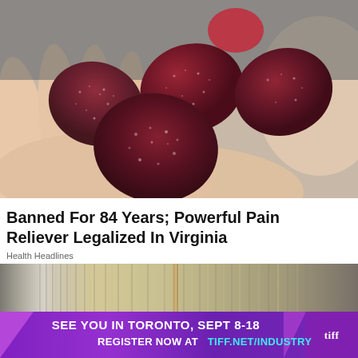[Figure (photo): A hand holding several dark red/maroon sugar-coated gummy candies or fruit pieces, viewed close up against a blurred background.]
Banned For 84 Years; Powerful Pain Reliever Legalized In Virginia
Health Headlines
[Figure (photo): Close-up photo of a large roll or bundle of US dollar bills bound with a rubber band, showing the edges of the bills fanned out.]
[Figure (infographic): Advertisement banner: SEE YOU IN TORONTO, SEPT 8-18 REGISTER NOW AT TIFF.NET/INDUSTRY with tiff logo]